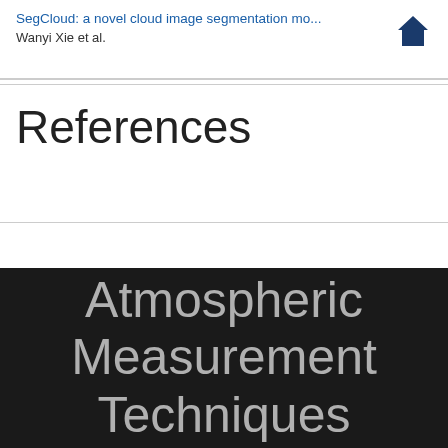SegCloud: a novel cloud image segmentation mo...
Wanyi Xie et al.
References
Atmospheric Measurement Techniques